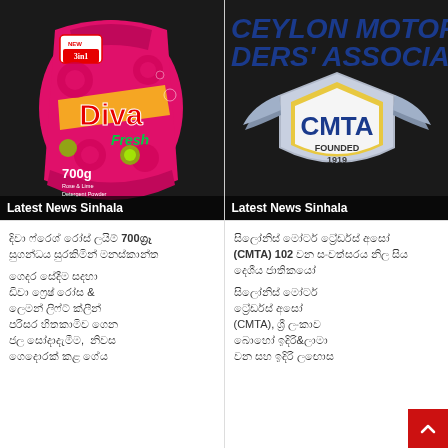[Figure (photo): Diva Fresh 700g Rose & Lime Detergent Powder product package on dark background]
Latest News Sinhala
[Figure (logo): Ceylon Motor Traders Association (CMTA) logo shield with 'CMTA FOUNDED 1919' text on dark background]
Latest News Sinhala
Sinhala text about Diva Fresh 700g detergent powder
Sinhala text about CMTA 102 anniversary